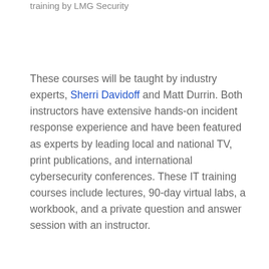training by LMG Security
These courses will be taught by industry experts, Sherri Davidoff and Matt Durrin. Both instructors have extensive hands-on incident response experience and have been featured as experts by leading local and national TV, print publications, and international cybersecurity conferences. These IT training courses include lectures, 90-day virtual labs, a workbook, and a private question and answer session with an instructor.